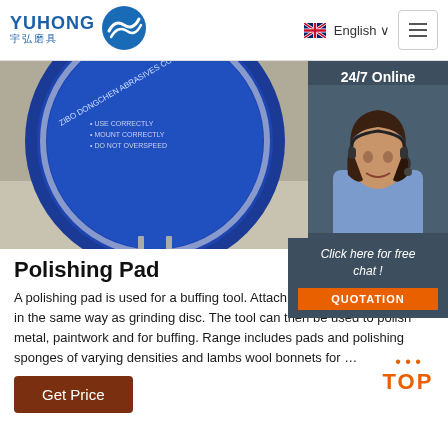YUHONG 宇弘磨具 | English
[Figure (photo): Blue circular grinding/polishing disc from ZIBO DONGCHEN ABRASIVES CO., LTD standing upright on a light surface, with a 24/7 Online customer service panel showing a female agent with headset on the right side]
Polishing Pad
A polishing pad is used for a buffing tool. Attach polishing pad to the tool in the same way as grinding disc. The tool can then be used to polish metal, paintwork and for buffing. Range includes pads and polishing sponges of varying densities and lambs wool bonnets for …
[Figure (other): Click here for free chat! with QUOTATION button]
[Figure (other): TOP scroll-to-top button with orange dots and TOP text]
Get Price